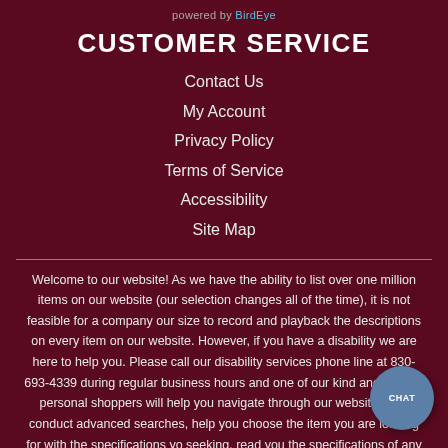powered by BirdEye
CUSTOMER SERVICE
Contact Us
My Account
Privacy Policy
Terms of Service
Accessibility
Site Map
Welcome to our website! As we have the ability to list over one million items on our website (our selection changes all of the time), it is not feasible for a company our size to record and playback the descriptions on every item on our website. However, if you have a disability we are here to help you. Please call our disability services phone line at 830-693-4339 during regular business hours and one of our kind and friendly personal shoppers will help you navigate through our website, help conduct advanced searches, help you choose the item you are looking for with the specifications you are seeking, read you the specifications of any item and consult you about the products themselves. There is no charge for the help of this personal shopper for anyone with a disability. Finally, your personal shopper will explain our Privacy Policy and Terms of